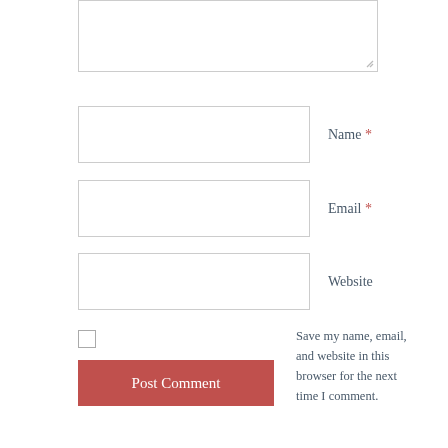[Figure (screenshot): Comment form textarea (large empty text input box)]
Name *
Email *
Website
Save my name, email, and website in this browser for the next time I comment.
Post Comment